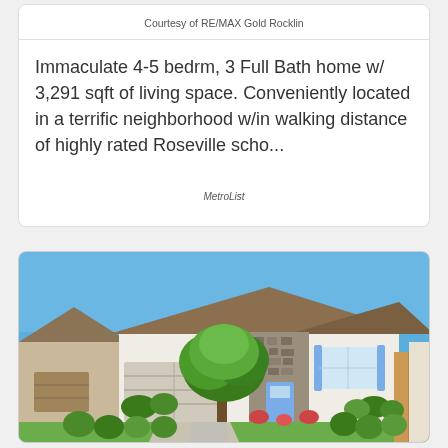Courtesy of RE/MAX Gold Rocklin
Immaculate 4-5 bedrm, 3 Full Bath home w/ 3,291 sqft of living space. Conveniently located in a terrific neighborhood w/in walking distance of highly rated Roseville scho...
MetroList
[Figure (photo): Exterior photo of a single-story white stucco home with blue shutters, stone accent facade, attached garage, large tree in front yard, green lawn and landscaping, blue sky background.]